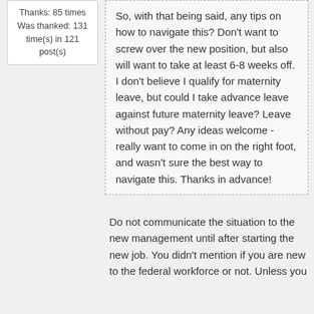Thanks: 85 times
Was thanked: 131 time(s) in 121 post(s)
So, with that being said, any tips on how to navigate this? Don't want to screw over the new position, but also will want to take at least 6-8 weeks off. I don't believe I qualify for maternity leave, but could I take advance leave against future maternity leave? Leave without pay? Any ideas welcome - really want to come in on the right foot, and wasn't sure the best way to navigate this. Thanks in advance!
Do not communicate the situation to the new management until after starting the new job. You didn't mention if you are new to the federal workforce or not. Unless you